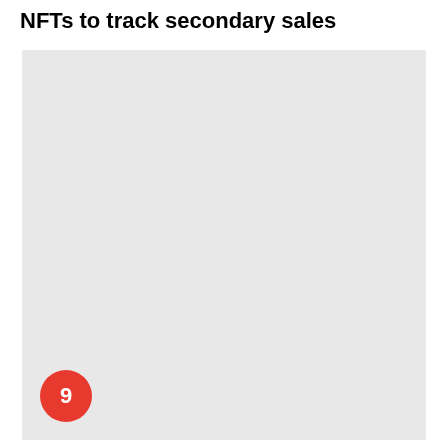NFTs to track secondary sales
[Figure (other): Large light gray placeholder image area with a red circle badge numbered 9 in the bottom-left corner.]